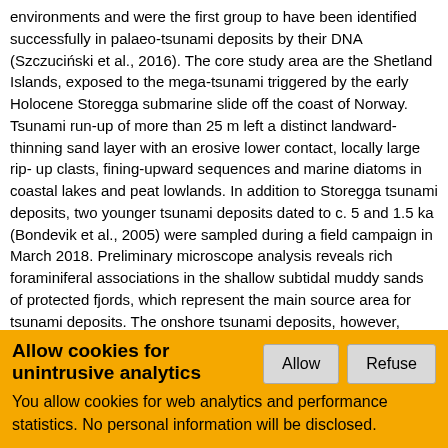environments and were the first group to have been identified successfully in palaeo-tsunami deposits by their DNA (Szczuciński et al., 2016). The core study area are the Shetland Islands, exposed to the mega-tsunami triggered by the early Holocene Storegga submarine slide off the coast of Norway. Tsunami run-up of more than 25 m left a distinct landward-thinning sand layer with an erosive lower contact, locally large rip- up clasts, fining-upward sequences and marine diatoms in coastal lakes and peat lowlands. In addition to Storegga tsunami deposits, two younger tsunami deposits dated to c. 5 and 1.5 ka (Bondevik et al., 2005) were sampled during a field campaign in March 2018. Preliminary microscope analysis reveals rich foraminiferal associations in the shallow subtidal muddy sands of protected fjords, which represent the main source area for tsunami deposits. The onshore tsunami deposits, however, vertically confined by ubiquitous dystrophic peat, are void of any carbonate, which seems to have quickly dissolved after deposition in the low-pH environment. This setting paves the way for developing a new eDNA-based proxy to support the identification of tsunamis in the sedimentary record. Funding by a BELSPO BRAIN-be pioneer grant (BR/175/PI/GEN_EX) is gratefully acknowledged. References:
Allow cookies for unintrusive analytics
You allow cookies for web analytics and performance statistics. No personal information will be disclosed.